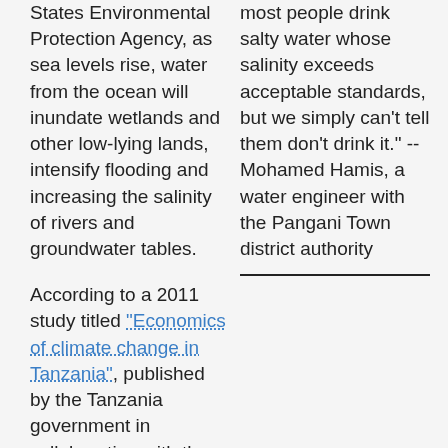States Environmental Protection Agency, as sea levels rise, water from the ocean will inundate wetlands and other low-lying lands, intensify flooding and increasing the salinity of rivers and groundwater tables.
According to a 2011 study titled "Economics of climate change in Tanzania", published by the Tanzania government in collaboration with the United Kingdom's Department for International Development, changing weather patterns in this East African nation will make its coastal communities
most people drink salty water whose salinity exceeds acceptable standards, but we simply can't tell them don't drink it." -- Mohamed Hamis, a water engineer with the Pangani Town district authority